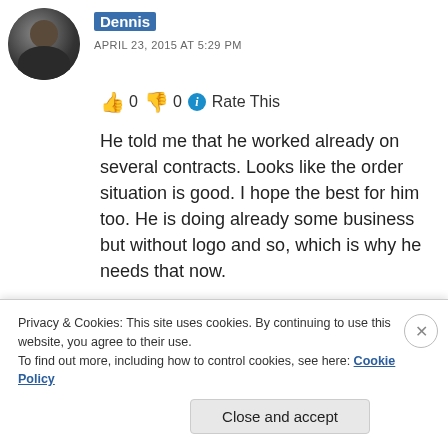[Figure (photo): Circular avatar photo of user Dennis, dark silhouette figure against a dark background]
Dennis
APRIL 23, 2015 AT 5:29 PM
👍 0 👎 0 ℹ Rate This
He told me that he worked already on several contracts. Looks like the order situation is good. I hope the best for him too. He is doing already some business but without logo and so, which is why he needs that now.
I showed him already several logo concepts. It's sometimes difficult to create logos for people
Privacy & Cookies: This site uses cookies. By continuing to use this website, you agree to their use.
To find out more, including how to control cookies, see here: Cookie Policy
Close and accept